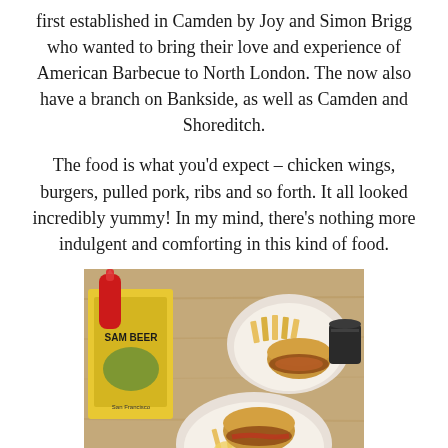first established in Camden by Joy and Simon Brigg who wanted to bring their love and experience of American Barbecue to North London. The now also have a branch on Bankside, as well as Camden and Shoreditch.
The food is what you'd expect – chicken wings, burgers, pulled pork, ribs and so forth. It all looked incredibly yummy! In my mind, there's nothing more indulgent and comforting in this kind of food.
[Figure (photo): Photo of two bowls containing burgers with pulled pork and waffle fries, alongside a yellow box (Sam Beer), a red ketchup squeeze bottle, and a drink, on a wooden table.]